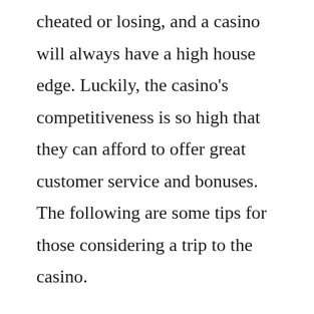cheated or losing, and a casino will always have a high house edge. Luckily, the casino's competitiveness is so high that they can afford to offer great customer service and bonuses. The following are some tips for those considering a trip to the casino.
Casino security is a major concern, and it's important that you take precautions to keep yourself safe. You'll find that the vast majority of casino personnel are trained in a wide range of safety practices, and they'll